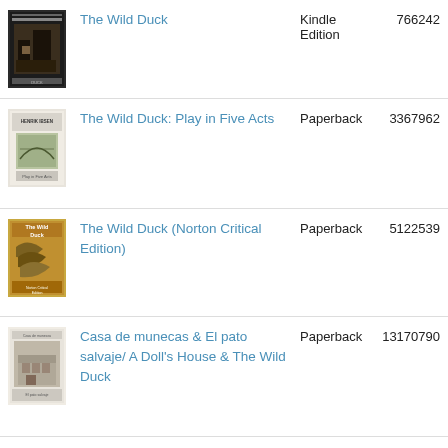| Cover | Title | Format | ID |
| --- | --- | --- | --- |
| [image] | The Wild Duck | Kindle Edition | 766242 |
| [image] | The Wild Duck: Play in Five Acts | Paperback | 3367962 |
| [image] | The Wild Duck (Norton Critical Edition) | Paperback | 5122539 |
| [image] | Casa de munecas & El pato salvaje/ A Doll's House & The Wild Duck | Paperback | 13170790 |